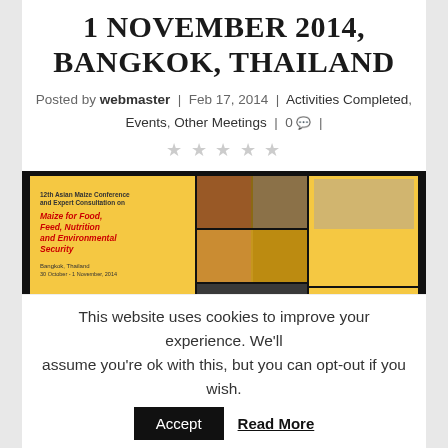1 NOVEMBER 2014, BANGKOK, THAILAND
Posted by webmaster | Feb 17, 2014 | Activities Completed, Events, Other Meetings | 0 |
[Figure (illustration): Book cover for '12th Asian Maize Conference and Expert Consultation on Maize for Food, Feed, Nutrition and Environmental Security', Bangkok Thailand, PROCEEDINGS. Yellow cover with food and crop photography.]
This website uses cookies to improve your experience. We'll assume you're ok with this, but you can opt-out if you wish.